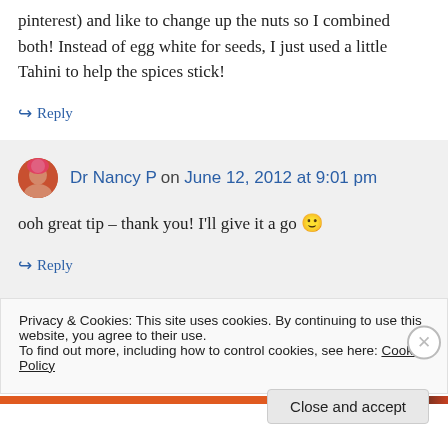pinterest) and like to change up the nuts so I combined both! Instead of egg white for seeds, I just used a little Tahini to help the spices stick!
↪ Reply
Dr Nancy P on June 12, 2012 at 9:01 pm
ooh great tip – thank you! I'll give it a go 🙂
↪ Reply
Privacy & Cookies: This site uses cookies. By continuing to use this website, you agree to their use. To find out more, including how to control cookies, see here: Cookie Policy
Close and accept